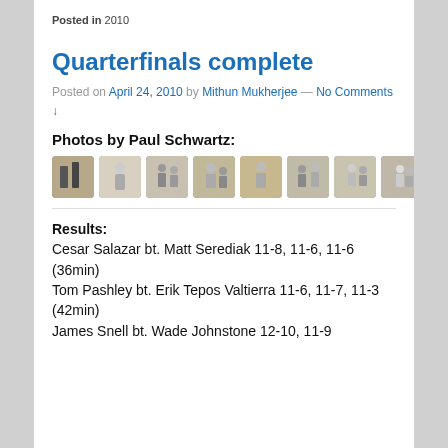Posted in 2010
Quarterfinals complete
Posted on April 24, 2010 by Mithun Mukherjee — No Comments ↓
Photos by Paul Schwartz:
[Figure (photo): Row of 8 small thumbnail photos of squash match play]
Results:
Cesar Salazar bt. Matt Serediak 11-8, 11-6, 11-6 (36min)
Tom Pashley bt. Erik Tepos Valtierra 11-6, 11-7, 11-3 (42min)
James Snell bt. Wade Johnstone 12-10, 11-9